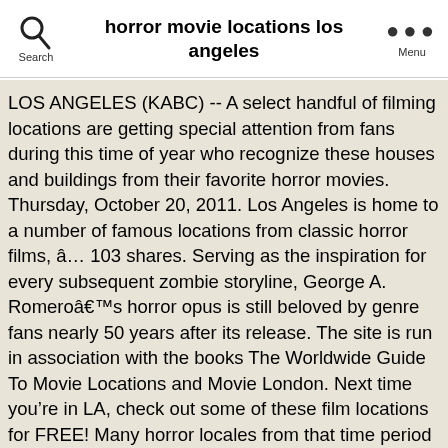horror movie locations los angeles
LOS ANGELES (KABC) -- A select handful of filming locations are getting special attention from fans during this time of year who recognize these houses and buildings from their favorite horror movies. Thursday, October 20, 2011. Los Angeles is home to a number of famous locations from classic horror films, â€¦ 103 shares. Serving as the inspiration for every subsequent zombie storyline, George A. Romeroâ€™s horror opus is still beloved by genre fans nearly 50 years after its release. The site is run in association with the books The Worldwide Guide To Movie Locations and Movie London. Next time you're in LA, check out some of these film locations for FREE! Many horror locales from that time period remain unchanged today, still possessing the power to give those in the know a good spook. Where â€œAmerican Horror Storyâ€ was filmed in Los Angeles, New Orleans, and Roanoke, and where you can visit the filming locations.